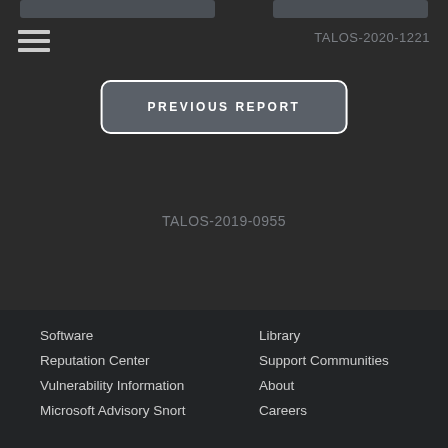[Figure (screenshot): Two gray rounded rectangle card elements at the top of the page]
[Figure (other): Hamburger menu icon with three horizontal lines]
TALOS-2020-1221
PREVIOUS REPORT
TALOS-2019-0955
Software | Library | Reputation Center | Support Communities | Vulnerability Information | About | Microsoft Advisory Snort | Careers